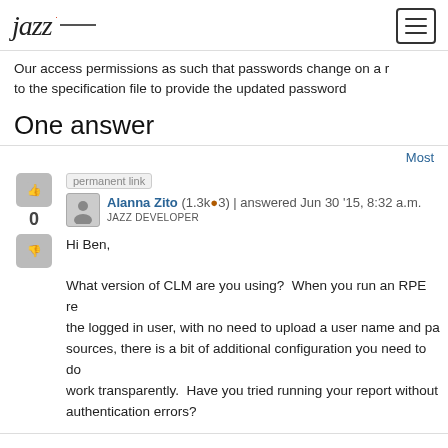jazz (logo) | hamburger menu
Our access permissions as such that passwords change on a regular basis, requiring updates to the specification file to provide the updated password
One answer
Most
permanent link
Alanna Zito (1.3k●3) | answered Jun 30 '15, 8:32 a.m.
JAZZ DEVELOPER
Hi Ben,

What version of CLM are you using?  When you run an RPE report, it authenticates as the logged in user, with no need to upload a user name and password. For DOORS Next sources, there is a bit of additional configuration you need to do to make authentication work transparently.  Have you tried running your report without authentication errors?